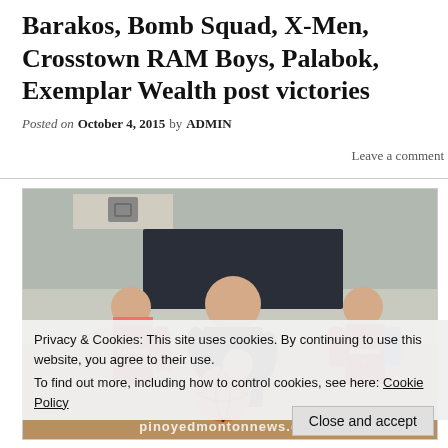Barakos, Bomb Squad, X-Men, Crosstown RAM Boys, Palabok, Exemplar Wealth post victories
Posted on October 4, 2015 by ADMIN   Leave a comment
[Figure (photo): Basketball game photo showing players in a gymnasium. A player in a black jersey with number 4 is holding a basketball. Two players in red BARANGAY bibs are visible on either side. A third player is partially visible in the background. A watermark reads 'pinoyedmontonnews.com'.]
Privacy & Cookies: This site uses cookies. By continuing to use this website, you agree to their use.
To find out more, including how to control cookies, see here: Cookie Policy
Close and accept